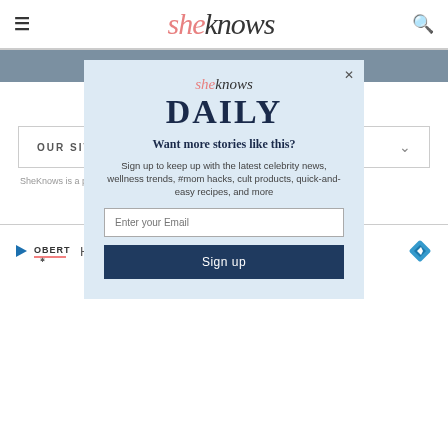sheknows — SOAPS   BLOGHER
[Figure (screenshot): SheKnows Daily newsletter signup modal overlay on the SheKnows website. Modal has light blue background with SheKnows logo, DAILY heading, 'Want more stories like this?' text, subscription description, email input field, and Sign up button.]
OUR SITES
SheKnows is a pa...lia, LLC. All Rights
[Figure (other): Oberto advertisement banner: play icon, Oberto logo, 'High in protein.' text, blue diamond arrow icon]